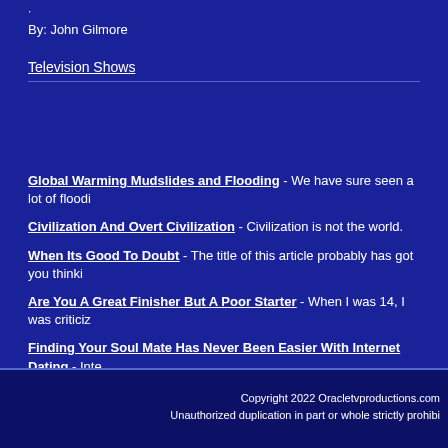·
By: John Gilmore
Television Shows
Global Warming Mudslides and Flooding - We have sure seen a lot of floodi
Civilization And Overt Civilization - Civilization is not the world.
When Its Good To Doubt - The title of this article probably has got you thinki
Are You A Great Finisher But A Poor Starter - When I was 14, I was criticiz
Finding Your Soul Mate Has Never Been Easier With Internet Dating - Inte to meet potential partners.
more...
Copyright 2022 Oracletvproductions.com Unauthorized duplication in part or whole strictly prohibi